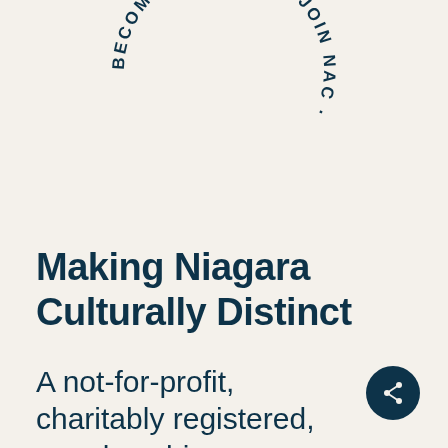[Figure (illustration): Circular text badge reading 'BECOME A MEMBER · JOIN NAC ·' arranged in a circle, partially visible at top of page, dark navy text on cream background]
Making Niagara Culturally Distinct
A not-for-profit, charitably registered, member-driven